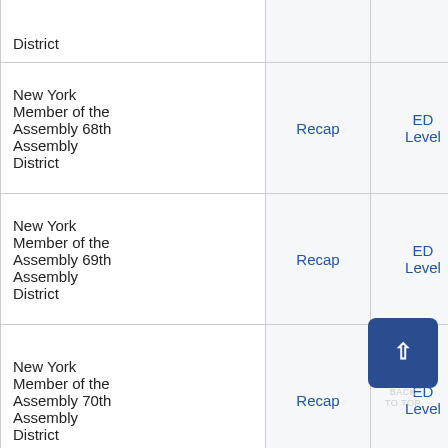| Contest | Recap | ED Level | Recap |
| --- | --- | --- | --- |
| District |  |  |  |
| New York Member of the Assembly 68th Assembly District | Recap | ED Level | Recap |
| New York Member of the Assembly 69th Assembly District | Recap | ED Level | Recap |
| New York Member of the Assembly 70th Assembly District | Recap | ED Level | Recap |
| New York Member of the |  |  |  |